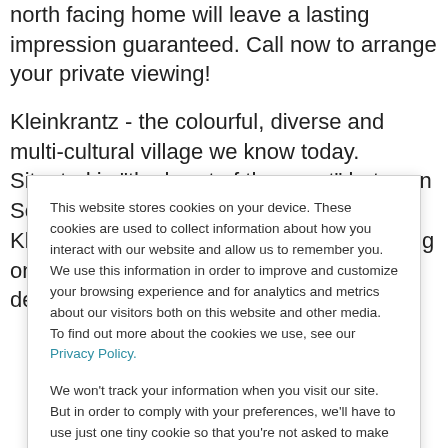north facing home will leave a lasting impression guaranteed. Call now to arrange your private viewing!
Kleinkrantz - the colourful, diverse and multi-cultural village we know today. Situated in “the heart of the coast” between Sedgefield and 8km from Wilderness, Kleinkrantz is well recognized now as being one of the most prestigious holiday destinations in the Western
This website stores cookies on your device. These cookies are used to collect information about how you interact with our website and allow us to remember you. We use this information in order to improve and customize your browsing experience and for analytics and metrics about our visitors both on this website and other media. To find out more about the cookies we use, see our Privacy Policy.
We won't track your information when you visit our site. But in order to comply with your preferences, we'll have to use just one tiny cookie so that you're not asked to make this choice again.
Accept
Decline